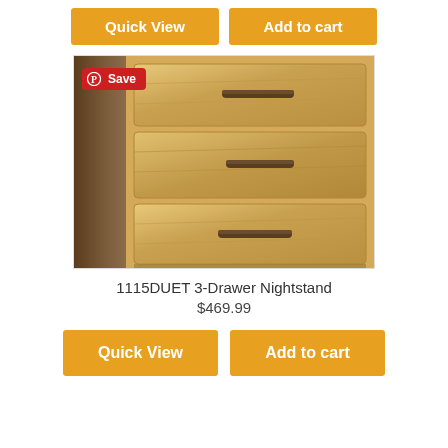[Figure (other): Quick View and Add to cart buttons at top of page (amber/orange color)]
[Figure (photo): Photo of a wooden 3-drawer nightstand with dark handles, light maple wood drawers and darker brown wood side panels. A red Pinterest Save badge is in the upper left corner.]
1115DUET 3-Drawer Nightstand
$469.99
[Figure (other): Quick View and Add to cart buttons at bottom of page (amber/orange color)]